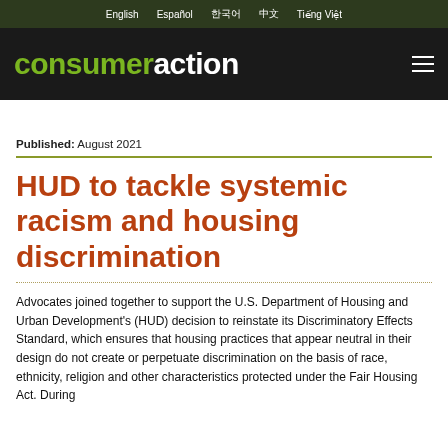English  Español  한국어  中文  Tiếng Việt
[Figure (logo): Consumer Action logo — 'consumer' in green bold, 'action' in white bold on black background, with hamburger menu icon on right]
Published: August 2021
HUD to tackle systemic racism and housing discrimination
Advocates joined together to support the U.S. Department of Housing and Urban Development's (HUD) decision to reinstate its Discriminatory Effects Standard, which ensures that housing practices that appear neutral in their design do not create or perpetuate discrimination on the basis of race, ethnicity, religion and other characteristics protected under the Fair Housing Act. During